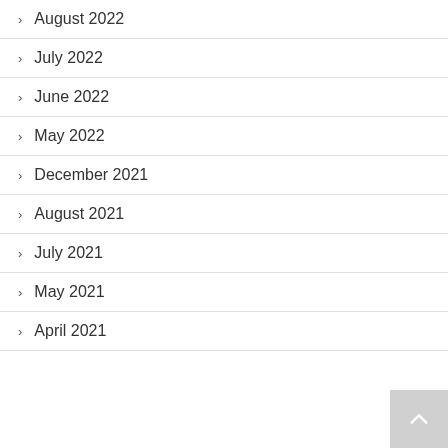August 2022
July 2022
June 2022
May 2022
December 2021
August 2021
July 2021
May 2021
April 2021